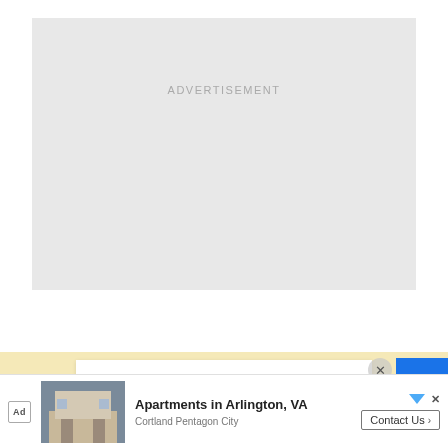[Figure (other): Advertisement placeholder box with light grey background and centered 'ADVERTISEMENT' text in uppercase grey letters]
[Figure (other): Recipe card partially visible at bottom showing 'Creamy One Pot Penne' title on white card over yellow/cream background strip]
[Figure (other): Bottom advertisement banner showing apartment image with text 'Apartments in Arlington, VA' and 'Cortland Pentagon City' with Contact Us button]